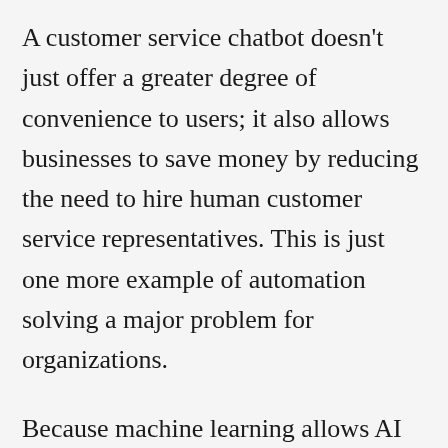A customer service chatbot doesn't just offer a greater degree of convenience to users; it also allows businesses to save money by reducing the need to hire human customer service representatives. This is just one more example of automation solving a major problem for organizations.
Because machine learning allows AI to constantly learn from data, chatbots can also boost engagement by providing customers with truly personalized brand interactions. For instance, an apparel retailer can leverage data about user behavior, providing personalized brand interactions.